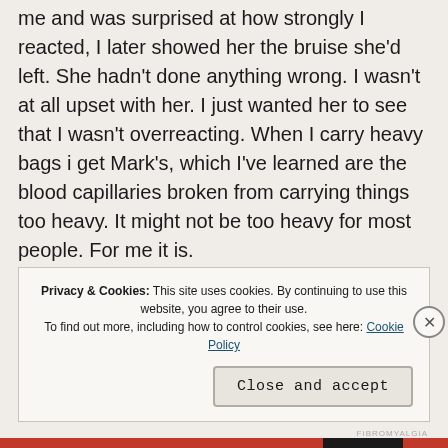The last time my sister – a different one – bumped into me and was surprised at how strongly I reacted, I later showed her the bruise she'd left. She hadn't done anything wrong. I wasn't at all upset with her. I just wanted her to see that I wasn't overreacting. When I carry heavy bags i get Mark's, which I've learned are the blood capillaries broken from carrying things too heavy. It might not be too heavy for most people. For me it is.
Privacy & Cookies: This site uses cookies. By continuing to use this website, you agree to their use. To find out more, including how to control cookies, see here: Cookie Policy